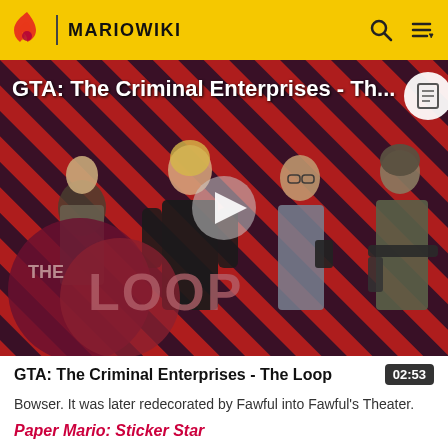MARIOWIKI
[Figure (screenshot): Video thumbnail for GTA: The Criminal Enterprises - The Loop, showing characters on a red and black diagonal striped background with a play button in the center and The Loop logo overlay at bottom left.]
GTA: The Criminal Enterprises - The Loop
02:53
Bowser. It was later redecorated by Fawful into Fawful's Theater.
Paper Mario: Sticker Star